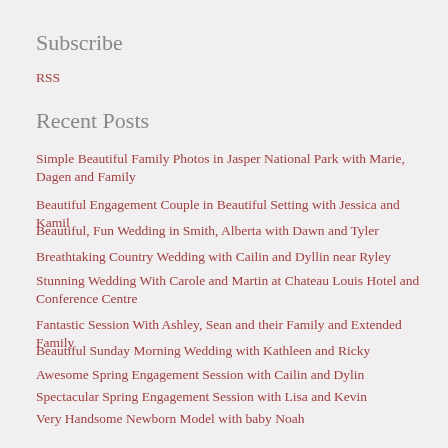Subscribe
RSS
Recent Posts
Simple Beautiful Family Photos in Jasper National Park with Marie, Dagen and Family
Beautiful Engagement Couple in Beautiful Setting with Jessica and Kamil
Beautiful, Fun Wedding in Smith, Alberta with Dawn and Tyler
Breathtaking Country Wedding with Cailin and Dyllin near Ryley
Stunning Wedding With Carole and Martin at Chateau Louis Hotel and Conference Centre
Fantastic Session With Ashley, Sean and their Family and Extended Family
Beautiful Sunday Morning Wedding with Kathleen and Ricky
Awesome Spring Engagement Session with Cailin and Dylin
Spectacular Spring Engagement Session with Lisa and Kevin
Very Handsome Newborn Model with baby Noah
Keywords
Stolen Moment Photography by Candice
Photographers in Edmonton